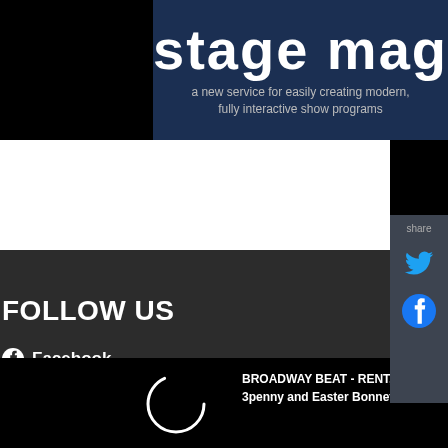[Figure (screenshot): Banner advertisement for 'stage mag' - a new service for easily creating modern, fully interactive show programs, shown on a dark navy background]
[Figure (screenshot): Share sidebar with Twitter and Facebook icons on dark background]
FOLLOW US
Facebook
Twitter
Instagram
[Figure (screenshot): Video player loading spinner (circular arc) on black background with text: BROADWAY BEAT - RENT, 3penny and Easter Bonnet, and a close (X) button]